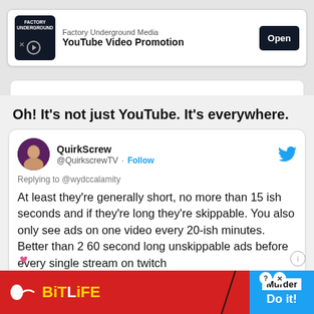[Figure (screenshot): Advertisement banner for Factory Underground Media YouTube Video Promotion with an Open button]
Oh! It's not just YouTube. It's everywhere.
[Figure (screenshot): Tweet by QuirkScrew (@QuirkscrewTV) replying to @wydccalamity: 'At least they're generally short, no more than 15 ish seconds and if they're long they're skippable. You also only see ads on one video every 20-ish minutes. Better than 2 60 second long unskippable ads before every single stream on twitch' · 2:16 AM · Jun 23, 2022]
[Figure (screenshot): BitLife advertisement banner at bottom with Murder / Do it! call to action]